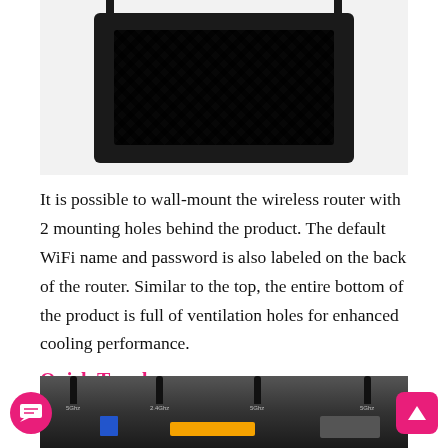[Figure (photo): Back panel of a black wireless router with diamond-pattern ventilation, wall-mount holes, and antennas visible at top]
It is possible to wall-mount the wireless router with 2 mounting holes behind the product. The default WiFi name and password is also labeled on the back of the router. Similar to the top, the entire bottom of the product is full of ventilation holes for enhanced cooling performance.
Quick Teardown
[Figure (photo): Internal PCB teardown photo of the wireless router showing antennas labeled 5GHz and 2.4GHz, orange component, and port block]